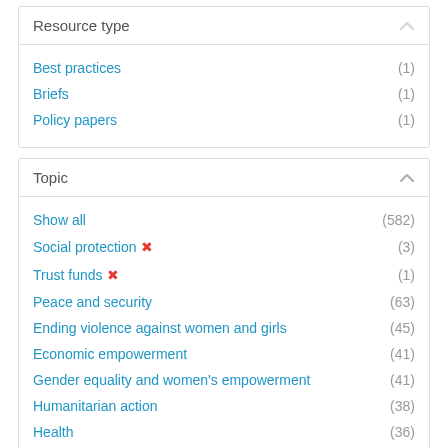Resource type
Best practices (1)
Briefs (1)
Policy papers (1)
Topic
Show all (582)
Social protection ✕ (3)
Trust funds ✕ (1)
Peace and security (63)
Ending violence against women and girls (45)
Economic empowerment (41)
Gender equality and women's empowerment (41)
Humanitarian action (38)
Health (36)
COVID-19 (34)